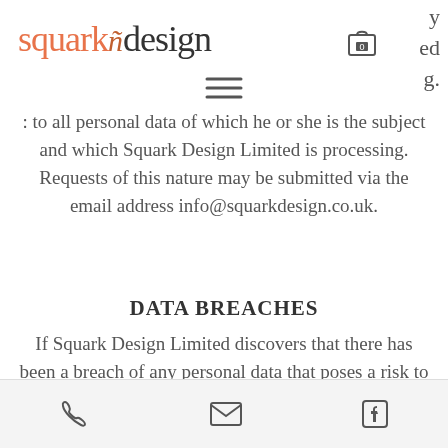[Figure (logo): Squark Design logo with stylized bird character between 'squark' in orange and 'design' in dark gray, with shopping bag icon]
[Figure (other): Hamburger menu icon (three horizontal lines)]
ed g.
: to all personal data of which he or she is the subject and which Squark Design Limited is processing. Requests of this nature may be submitted via the email address info@squarkdesign.co.uk.
DATA BREACHES
If Squark Design Limited discovers that there has been a breach of any personal data that poses a risk to the rights and freedoms of individuals, it will report it to the Information Commissioner within 72 hours of discovery. Squark Design Limited will record all data breaches regardless of their effect. If the breach is likely to
Phone | Email | Facebook